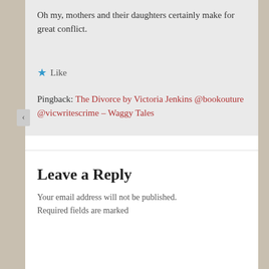Oh my, mothers and their daughters certainly make for great conflict.
Like
Pingback: The Divorce by Victoria Jenkins @bookouture @vicwritescrime – Waggy Tales
Leave a Reply
Your email address will not be published. Required fields are marked